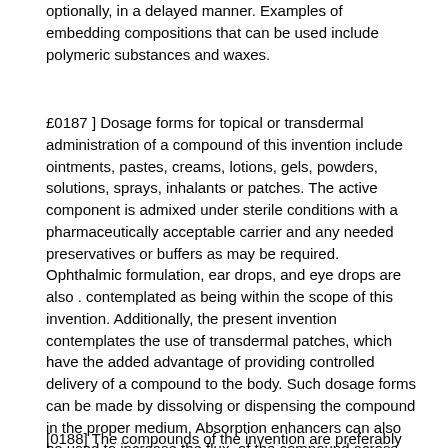optionally, in a delayed manner. Examples of embedding compositions that can be used include polymeric substances and waxes.
[0187] Dosage forms for topical or transdermal administration of a compound of this invention include ointments, pastes, creams, lotions, gels, powders, solutions, sprays, inhalants or patches. The active component is admixed under sterile conditions with a pharmaceutically acceptable carrier and any needed preservatives or buffers as may be required. Ophthalmic formulation, ear drops, and eye drops are also contemplated as being within the scope of this invention. Additionally, the present invention contemplates the use of transdermal patches, which have the added advantage of providing controlled delivery of a compound to the body. Such dosage forms can be made by dissolving or dispensing the compound in the proper medium. Absorption enhancers can also be used to increase the flux, of the compound across the skin. The rate can be controlled by either providing a rate controlling membrane or by dispersing the compound in a polymer matrix or gel.
[0188] The compounds of the invention are preferably